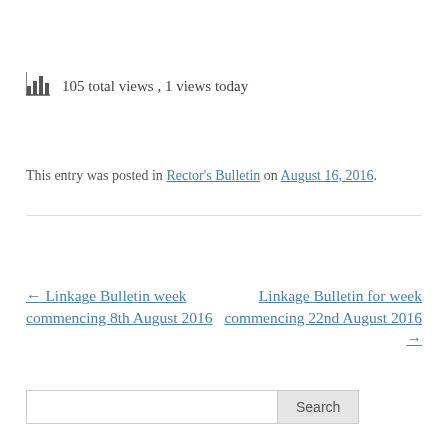105 total views , 1 views today
This entry was posted in Rector's Bulletin on August 16, 2016.
← Linkage Bulletin week commencing 8th August 2016
Linkage Bulletin for week commencing 22nd August 2016 →